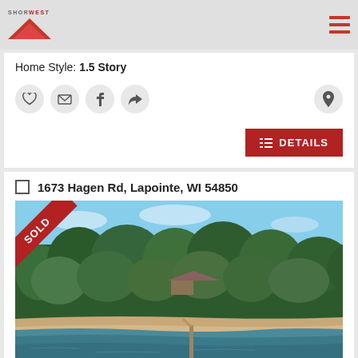Shorewest
Home Style: 1.5 Story
DETAILS
1673 Hagen Rd, Lapointe, WI 54850
[Figure (photo): Aerial drone photograph of a lakefront property at 1673 Hagen Rd, Lapointe, WI. Shows a house surrounded by dense green forest, a sandy beach shoreline, a dock extending into the lake, and blue water. A red 'SOLD' banner overlays the top-left corner of the image.]